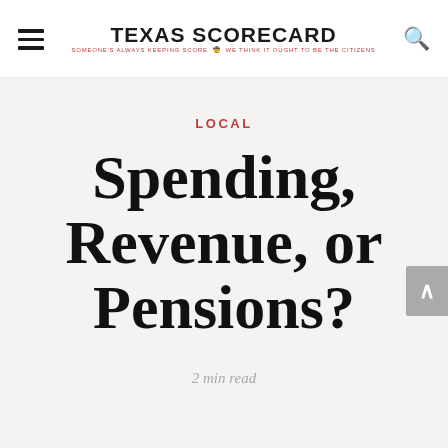TEXAS SCORECARD — SOMEONE'S ALWAYS KEEPING SCORE — WE THINK IT OUGHT TO BE THE CITIZENS
LOCAL
Spending, Revenue, or Pensions?
2 min read